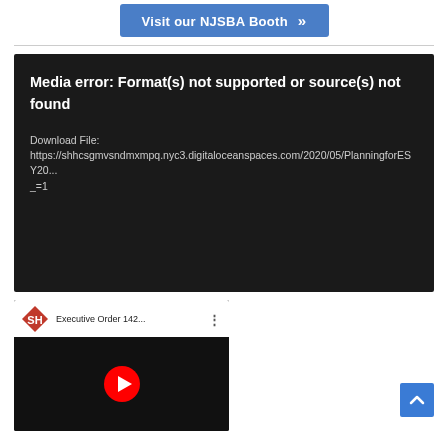[Figure (screenshot): Blue button labeled 'Visit our NJSBA Booth »']
[Figure (screenshot): Dark media player error box showing: 'Media error: Format(s) not supported or source(s) not found' with download file URL starting with https://shhcsgmvsndmxmpq.nyc3.digitaloceanspaces.com/2020/05/PlanningforESY20... _=1]
[Figure (screenshot): YouTube video thumbnail for 'Executive Order 142...' with red play button and SH diamond logo]